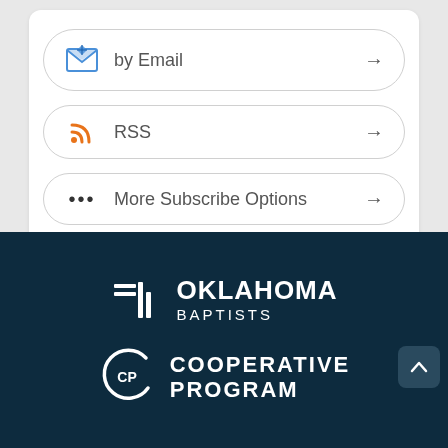by Email →
RSS →
More Subscribe Options →
[Figure (logo): Oklahoma Baptists logo — geometric cross/pillar icon in white on dark navy background with text OKLAHOMA BAPTISTS]
[Figure (logo): Cooperative Program logo — CP in circular swoosh bracket in white on dark navy background with text COOPERATIVE PROGRAM]